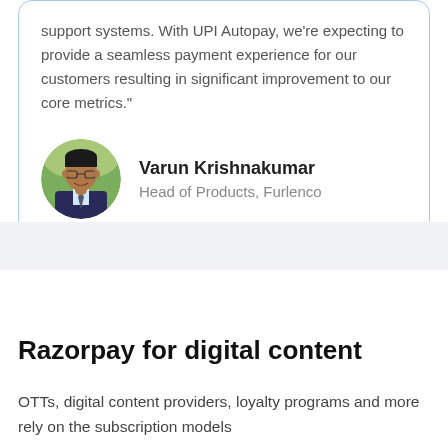support systems. With UPI Autopay, we're expecting to provide a seamless payment experience for our customers resulting in significant improvement to our core metrics."
[Figure (photo): Circular headshot of Varun Krishnakumar, a man wearing glasses and a suit]
Varun Krishnakumar
Head of Products, Furlenco
Razorpay for digital content
OTTs, digital content providers, loyalty programs and more rely on the subscription models